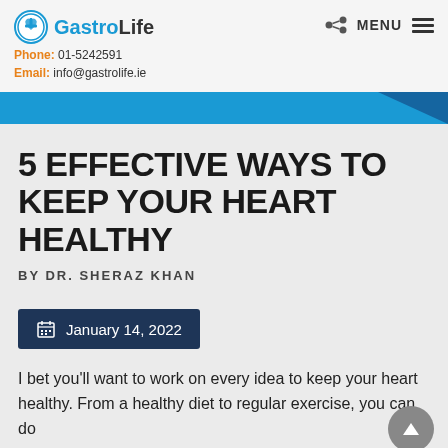GastroLife | Phone: 01-5242591 | Email: info@gastrolife.ie
5 EFFECTIVE WAYS TO KEEP YOUR HEART HEALTHY
BY DR. SHERAZ KHAN
January 14, 2022
I bet you'll want to work on every idea to keep your heart healthy. From a healthy diet to regular exercise, you can do